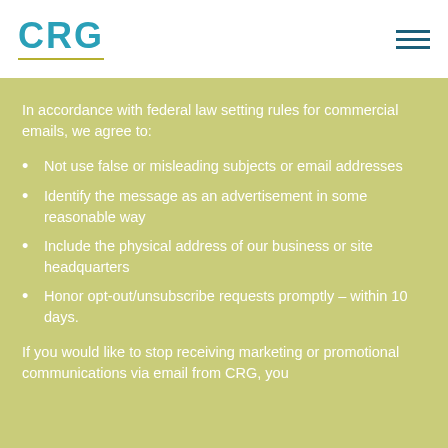CRG
In accordance with federal law setting rules for commercial emails, we agree to:
Not use false or misleading subjects or email addresses
Identify the message as an advertisement in some reasonable way
Include the physical address of our business or site headquarters
Honor opt-out/unsubscribe requests promptly – within 10 days.
If you would like to stop receiving marketing or promotional communications via email from CRG, you